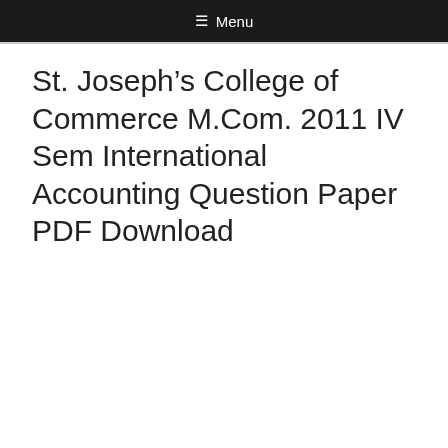≡ Menu
St. Joseph's College of Commerce M.Com. 2011 IV Sem International Accounting Question Paper PDF Download